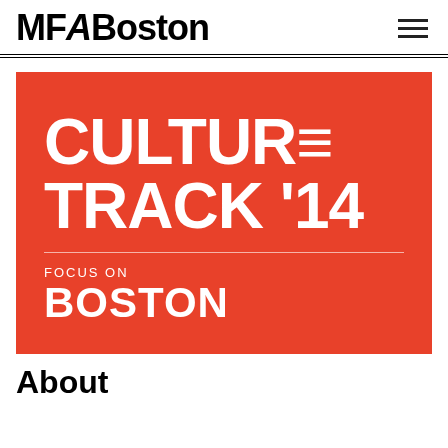MFABoston
[Figure (logo): MFA Boston museum logo in bold black text on white background, with hamburger menu icon on the right]
[Figure (infographic): Red background block with white bold text reading 'CULTURE TRACK '14' in large uppercase letters, a horizontal white divider line, then 'FOCUS ON' in small caps and 'BOSTON' in large bold white text below]
About